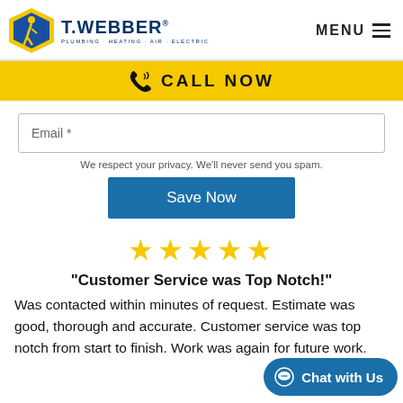T. WEBBER PLUMBING · HEATING · AIR · ELECTRIC | MENU
CALL NOW
Email *
We respect your privacy. We'll never send you spam.
Save Now
[Figure (illustration): Five gold star rating icons]
"Customer Service was Top Notch!"
Was contacted within minutes of request. Estimate was good, thorough and accurate. Customer service was top notch from start to finish. Work was again for future work.
Chat with Us